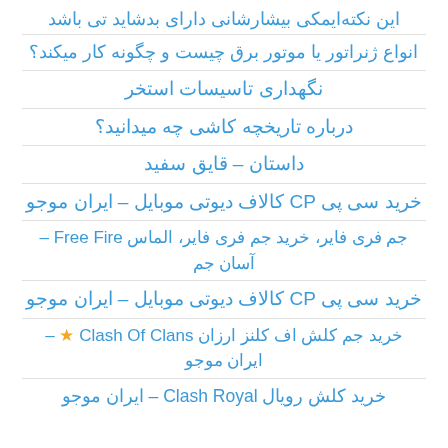این نکته‌ایمکی بیشارشانی دارای بدشاید تی باشد
انواع ژنراتور یا موتور برق چیست و چگونه کار میکند؟
نگهداری تاسیسات استخر
درباره تاریخچه کاشی چه میدانید؟
داستان – قایق سفید
خرید سی پی CP کالاف دیوتی موبایل – ایران موجو
جم فری فایر، خرید جم فری فایر، الماس Free Fire – آسان جم
خرید سی پی CP کالاف دیوتی موبایل – ایران موجو
خرید جم کلش اف کلنز ارزان Clash Of Clans ★ – ایران موجو
خرید کلش رویال Clash Royal – ایران موجو